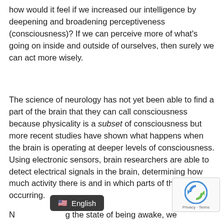how would it feel if we increased our intelligence by deepening and broadening perceptiveness (consciousness)? If we can perceive more of what's going on inside and outside of ourselves, then surely we can act more wisely.
The science of neurology has not yet been able to find a part of the brain that they can call consciousness because physicality is a subset of consciousness but more recent studies have shown what happens when the brain is operating at deeper levels of consciousness. Using electronic sensors, brain researchers are able to detect electrical signals in the brain, determining how much activity there is and in which parts of the brain it is occurring.
N... ...g the state of being awake, we